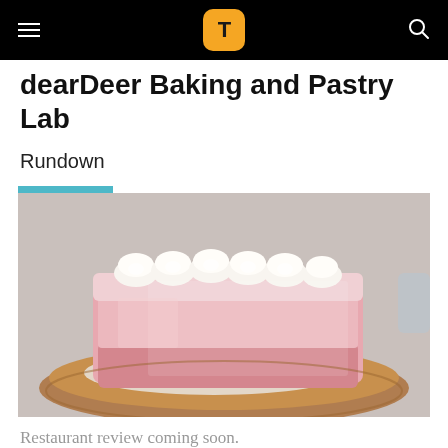T (logo) — navigation bar with hamburger menu and search icon
dearDeer Baking and Pastry Lab
Rundown
[Figure (photo): Close-up photo of a pink layered cake with white whipped cream rosettes on top, sitting on a round wooden board with a white napkin underneath, light gray background]
Restaurant review coming soon.